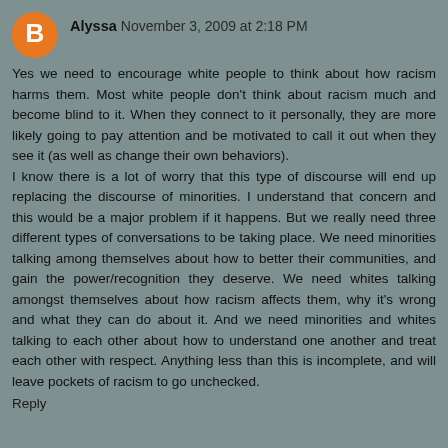Alyssa  November 3, 2009 at 2:18 PM
Yes we need to encourage white people to think about how racism harms them. Most white people don't think about racism much and become blind to it. When they connect to it personally, they are more likely going to pay attention and be motivated to call it out when they see it (as well as change their own behaviors).
I know there is a lot of worry that this type of discourse will end up replacing the discourse of minorities. I understand that concern and this would be a major problem if it happens. But we really need three different types of conversations to be taking place. We need minorities talking among themselves about how to better their communities, and gain the power/recognition they deserve. We need whites talking amongst themselves about how racism affects them, why it's wrong and what they can do about it. And we need minorities and whites talking to each other about how to understand one another and treat each other with respect. Anything less than this is incomplete, and will leave pockets of racism to go unchecked.
Reply